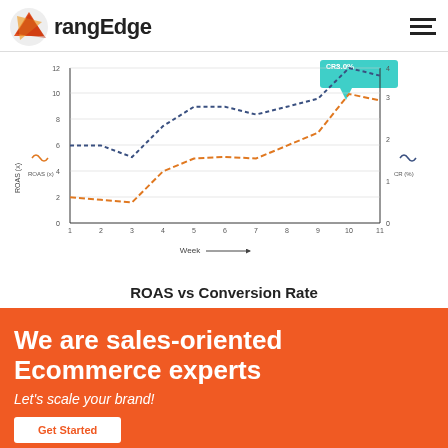OrangEdge
[Figure (line-chart): Line chart showing ROAS (orange dashed) and Conversion Rate (blue dashed) over 11 weeks. A teal callout box at week 10 shows CR: 3.0%.]
ROAS vs Conversion Rate
We are sales-oriented Ecommerce experts
Let's scale your brand!